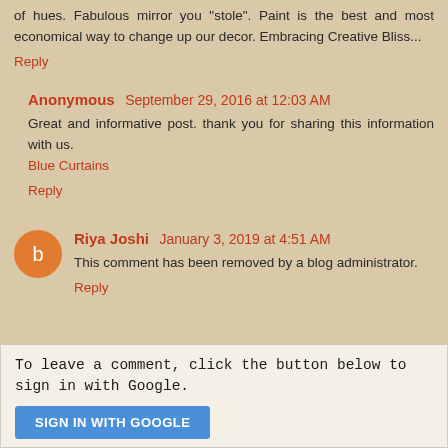of hues. Fabulous mirror you "stole". Paint is the best and most economical way to change up our decor. Embracing Creative Bliss...
Reply
Anonymous  September 29, 2016 at 12:03 AM
Great and informative post. thank you for sharing this information with us.
Blue Curtains
Reply
Riya Joshi  January 3, 2019 at 4:51 AM
This comment has been removed by a blog administrator.
Reply
To leave a comment, click the button below to sign in with Google.
SIGN IN WITH GOOGLE